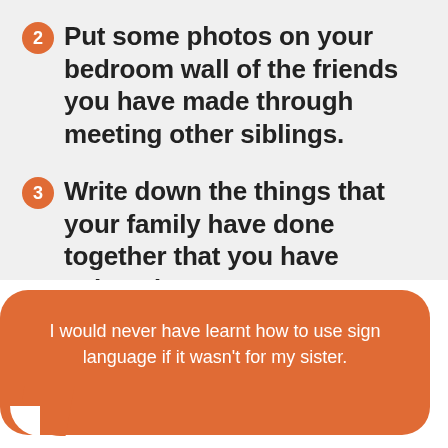2 Put some photos on your bedroom wall of the friends you have made through meeting other siblings.
3 Write down the things that your family have done together that you have enjoyed.
I would never have learnt how to use sign language if it wasn't for my sister.